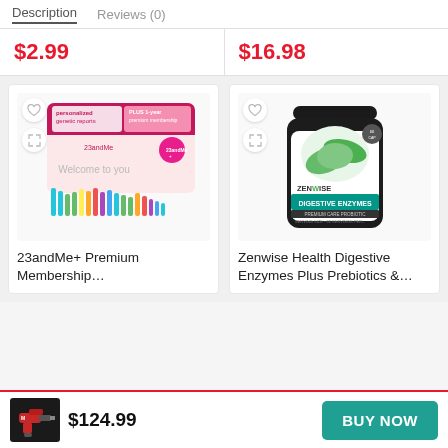Description   Reviews (0)
$2.99
$16.98
[Figure (photo): 23andMe+ product kit showing personalized genetic reports and PLUS 1-year premium membership packaging with Welcome to you colorful bar chart graphic]
23andMe+ Premium Membership…
[Figure (photo): Zenwise Health Digestive Enzymes supplement bottle with green leaves, teal label reading DIGESTIVE ENZYMES, premium care probiotic]
Zenwise Health Digestive Enzymes Plus Prebiotics &…
[Figure (photo): Power drill tool kit product thumbnail image in bottom bar]
$124.99
BUY NOW